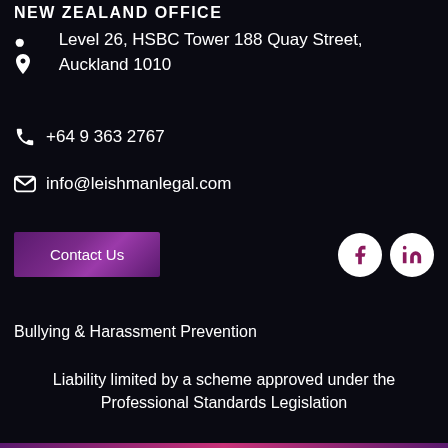NEW ZEALAND OFFICE
Level 26, HSBC Tower 188 Quay Street, Auckland 1010
+64 9 363 2767
info@leishmanlegal.com
[Figure (other): Contact Us button and social media icons (Facebook, LinkedIn)]
Bullying & Harassment Prevention
Liability limited by a scheme approved under the Professional Standards Legislation